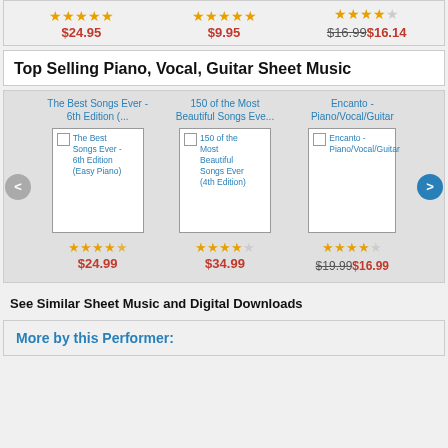[Figure (other): Top bar with three product ratings and prices: $24.95, $9.95, $16.99 struck through then $16.14]
Top Selling Piano, Vocal, Guitar Sheet Music
[Figure (other): Three product cards: The Best Songs Ever - 6th Edition (Easy Piano) $24.99 with 4.5 stars; 150 of the Most Beautiful Songs Ever (4th Edition) $34.99 with 4 stars; Encanto - Piano/Vocal/Guitar $19.99 struck/$16.99 with 4 stars]
See Similar Sheet Music and Digital Downloads
More by this Performer: